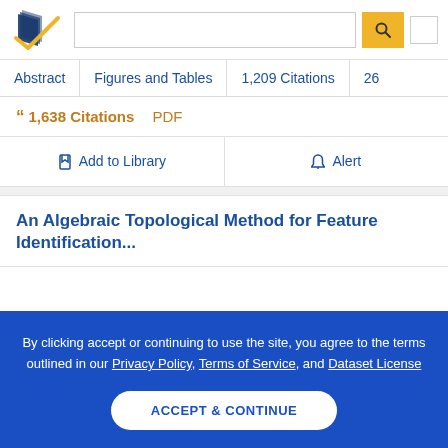[Figure (logo): Semantic Scholar logo with stylized book pages icon in dark blue and gold checkmark]
Abstract | Figures and Tables | 1,209 Citations | 26...
" 1,638 Citations   PDF
☐ Add to Library   🔔 Alert
An Algebraic Topological Method for Feature Identification...
By clicking accept or continuing to use the site, you agree to the terms outlined in our Privacy Policy, Terms of Service, and Dataset License
ACCEPT & CONTINUE